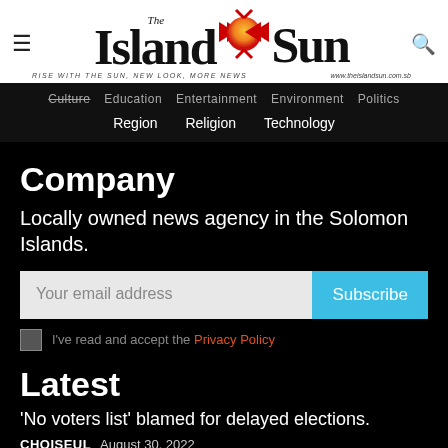[Figure (logo): The Island Sun newspaper logo with red and orange sun emblem, tagline 'RISE WITH THE SUN, NEW LOOK, MORE NEWS' and website www.theislandsun.com.sb]
Culture  Education  Entertainment  Environment  Politics  Region  Religion  Technology
Company
Locally owned news agency in the Solomon Islands.
Your email address  Subscribe
I've read and accept the Privacy Policy
Latest
'No voters list' blamed for delayed elections.
CHOISEUL  August 30, 2022